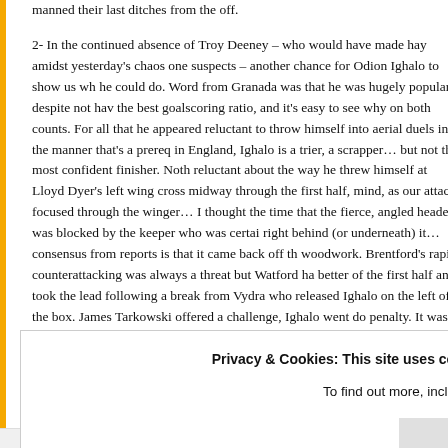manned their last ditches from the off.

2- In the continued absence of Troy Deeney – who would have made hay amidst yesterday's chaos one suspects – another chance for Odion Ighalo to show us what he could do. Word from Granada was that he was hugely popular despite not having the best goalscoring ratio, and it's easy to see why on both counts. For all that he appeared reluctant to throw himself into aerial duels in the manner that's a prereq in England, Ighalo is a trier, a scrapper… but not the most confident finisher. Noth reluctant about the way he threw himself at Lloyd Dyer's left wing cross midway through the first half, mind, as our attacks focused through the winger… I thought the time that the fierce, angled header was blocked by the keeper who was certai right behind (or underneath) it… consensus from reports is that it came back off the woodwork. Brentford's rapid counterattacking was always a threat but Watford ha better of the first half and took the lead following a break from Vydra who released Ighalo on the left of the box. James Tarkowski offered a challenge, Ighalo went do penalty. It was certainly soft, but whilst my co-editor would probably wish to remonstrate about contact not equalling a foul I've got no sympathy with Brentford protests on this one, much less with Warburton's one-eyed assessment of the inc Contrary to his assertion that the players were running side by side and no contac
Privacy & Cookies: This site uses cookies. By continuing to use this website, you agree to their use.
To find out more, including how to control cookies, see here: Cookie Policy
Close and accept
COPYRIGHT TIPS AD